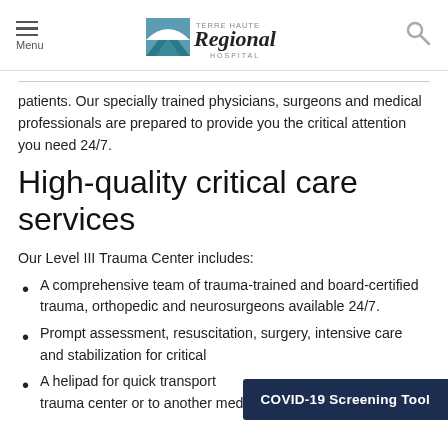Menu | Terre Haute Regional Hospital | Search
patients. Our specially trained physicians, surgeons and medical professionals are prepared to provide you the critical attention you need 24/7.
High-quality critical care services
Our Level III Trauma Center includes:
A comprehensive team of trauma-trained and board-certified trauma, orthopedic and neurosurgeons available 24/7.
Prompt assessment, resuscitation, surgery, intensive care and stabilization for critical...
A helipad for quick transport from an incident to the trauma center or to another medical center, if necessary